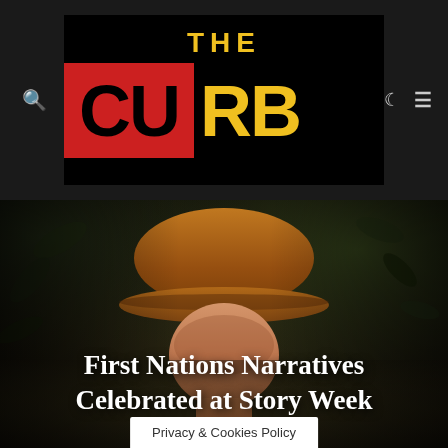[Figure (logo): The Curb magazine logo: black background with 'THE' in yellow letters above 'CURB' where 'CU' is on a red background in black text and 'RB' is in yellow text on black background]
[Figure (photo): A person wearing an orange/brown cap, photographed against a dark foliage background. The image is dimly lit with dark tones.]
First Nations Narratives Celebrated at Story Week
Privacy & Cookies Policy